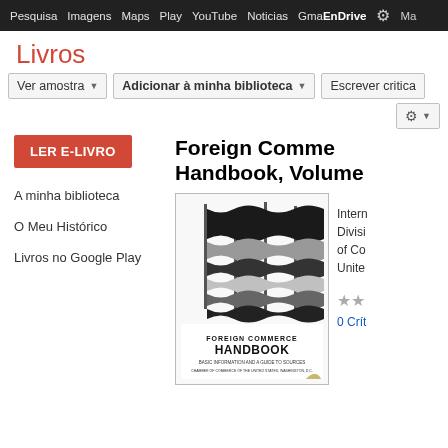Pesquisa  Imagens  Maps  Play  YouTube  Noticias  Gmail  Drive  [settings]
Livros
Ver amostra  |  Adicionar à minha biblioteca  |  Escrever critica
LER E-LIVRO
Foreign Commerce Handbook, Volume...
A minha biblioteca
O Meu Histórico
Livros no Google Play
[Figure (illustration): Book cover of Foreign Commerce Handbook showing stylized flags in black, white, and gray tones]
International... Division... of Co... Unite... 0 Crít...